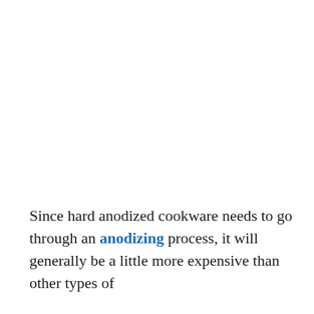Since hard anodized cookware needs to go through an anodizing process, it will generally be a little more expensive than other types of